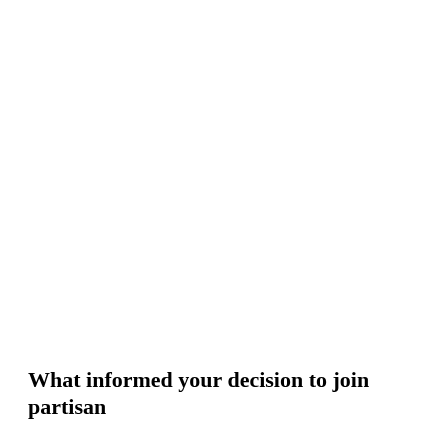What informed your decision to join partisan